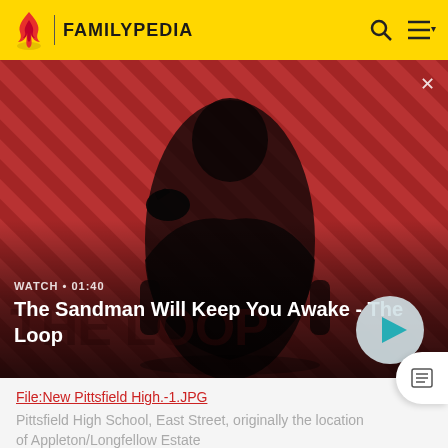FAMILYPEDIA
[Figure (screenshot): Video banner for 'The Sandman Will Keep You Awake - The Loop' with a dark-clad figure against a red diagonal-striped background. Shows WATCH • 01:40 label and a play button.]
File:New Pittsfield High.-1.JPG
Pittsfield High School, East Street, originally the location of Appleton/Longfellow Estate
Pittsfield operates a public school system which currently